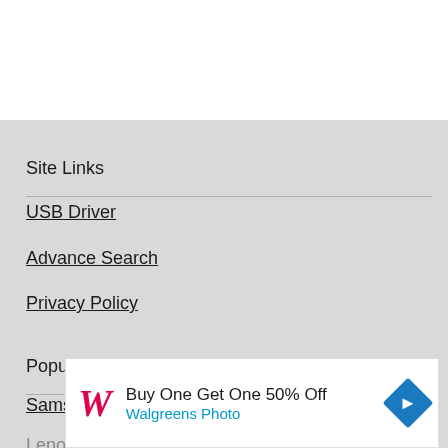Site Links
USB Driver
Advance Search
Privacy Policy
Popular
Sams
Lenov
[Figure (screenshot): Walgreens advertisement banner: Buy One Get One 50% Off - Walgreens Photo, with Walgreens cursive W logo and blue diamond arrow icon]